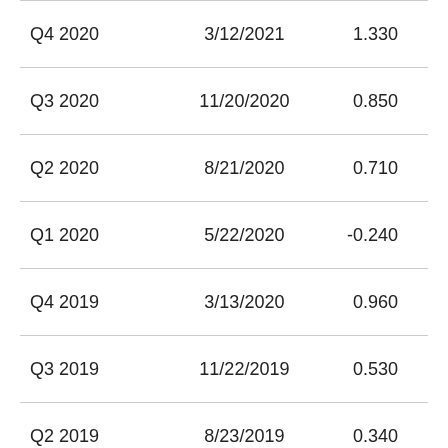| Q4 2020 | 3/12/2021 | 1.330 |
| Q3 2020 | 11/20/2020 | 0.850 |
| Q2 2020 | 8/21/2020 | 0.710 |
| Q1 2020 | 5/22/2020 | -0.240 |
| Q4 2019 | 3/13/2020 | 0.960 |
| Q3 2019 | 11/22/2019 | 0.530 |
| Q2 2019 | 8/23/2019 | 0.340 |
| Q1 2019 | 5/24/2019 | 0.310 |